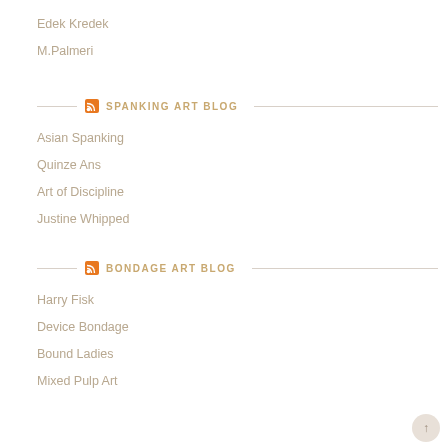Edek Kredek
M.Palmeri
SPANKING ART BLOG
Asian Spanking
Quinze Ans
Art of Discipline
Justine Whipped
BONDAGE ART BLOG
Harry Fisk
Device Bondage
Bound Ladies
Mixed Pulp Art